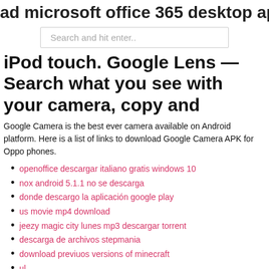ad microsoft office 365 desktop app
Search and hit enter..
iPod touch. Google Lens — Search what you see with your camera, copy and
Google Camera is the best ever camera available on Android platform. Here is a list of links to download Google Camera APK for Oppo phones.
openoffice descargar italiano gratis windows 10
nox android 5.1.1 no se descarga
donde descargo la aplicación google play
us movie mp4 download
jeezy magic city lunes mp3 descargar torrent
descarga de archivos stepmania
download previuos versions of minecraft
ul
ul
ul